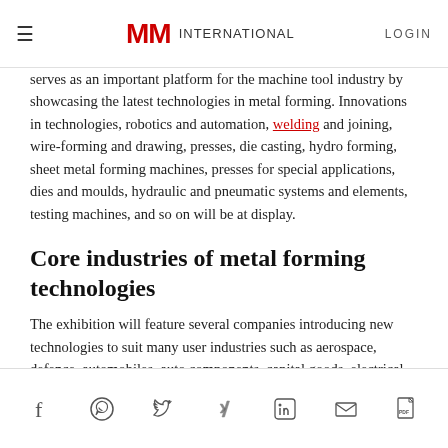MM INTERNATIONAL LOGIN
serves as an important platform for the machine tool industry by showcasing the latest technologies in metal forming. Innovations in technologies, robotics and automation, welding and joining, wire-forming and drawing, presses, die casting, hydro forming, sheet metal forming machines, presses for special applications, dies and moulds, hydraulic and pneumatic systems and elements, testing machines, and so on will be at display.
Core industries of metal forming technologies
The exhibition will feature several companies introducing new technologies to suit many user industries such as aerospace, defence, automobiles, auto components, capital goods, electrical and electronics, earth moving and construction, food processing and dairy equipment, and many others. High level delegations
Social share icons: Facebook, WhatsApp, Twitter, Xing, LinkedIn, Email, PDF